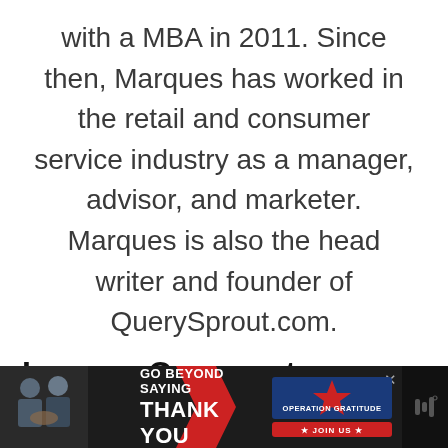with a MBA in 2011. Since then, Marques has worked in the retail and consumer service industry as a manager, advisor, and marketer. Marques is also the head writer and founder of QuerySprout.com.
Leave a Comment
[Figure (infographic): Advertisement banner at bottom of page. Dark background with people shaking hands on the left. Text reads 'GO BEYOND SAYING THANK YOU'. Operation Gratitude logo with star and 'JOIN US' button on the right. Close button (x) visible. Small icon on far right.]